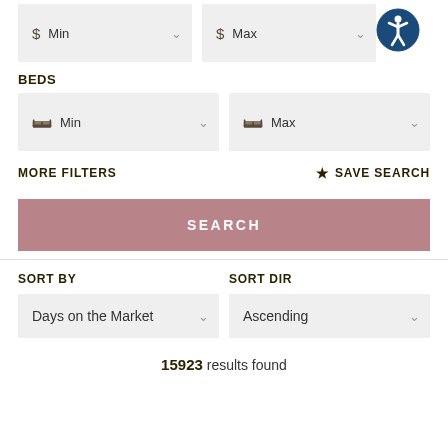$ Min
$ Max
BEDS
Min (beds)
Max (beds)
MORE FILTERS
SAVE SEARCH
SEARCH
SORT BY
SORT DIR
Days on the Market
Ascending
15923 results found